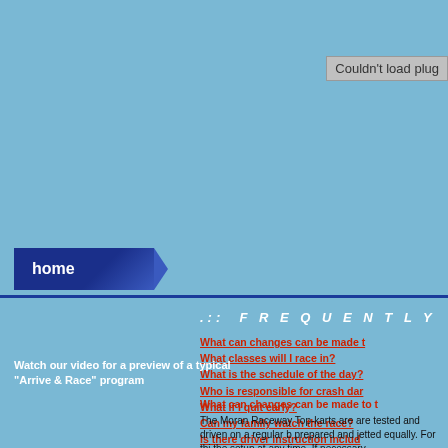Couldn't load plug
[Figure (logo): Home navigation button - dark blue button with white 'home' text and arrow tab]
.::: F R E Q U E N T L Y A
What can changes can be made t
What classes will I race in?
What is the schedule of the day?
Who is responsible for crash dar
What if I quit early?
Can my family watch the race?
Is there driver instruction includ
What if there is a mechanical fail
What do I need to bring?
How do I sign up for arrive and r
How do I contact the Tri-C race c
Watch our video for a preview of a typical "Arrive & Race" program
What can changes can be made to t
The Moran Raceway Top-karts are are tested and driven on a regular b prepared and jetted equally. For thi the setup at any time. If necessary